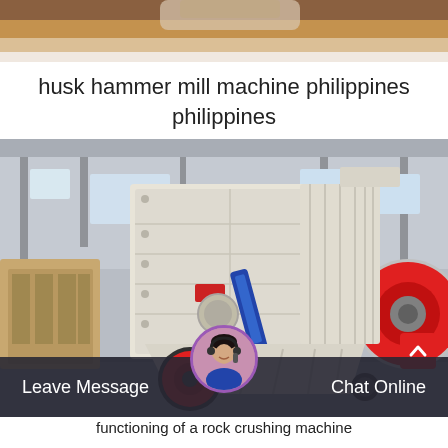[Figure (photo): Top partial photo of machinery or equipment, cropped at top]
husk hammer mill machine philippines philippines
[Figure (photo): Large industrial impact crusher / hammer mill machine in a factory setting, cream/white colored with red wheel, blue hydraulic arm, in an industrial hall with other machinery visible in background]
functioning of a rock crushing machine
Leave Message
Chat Online